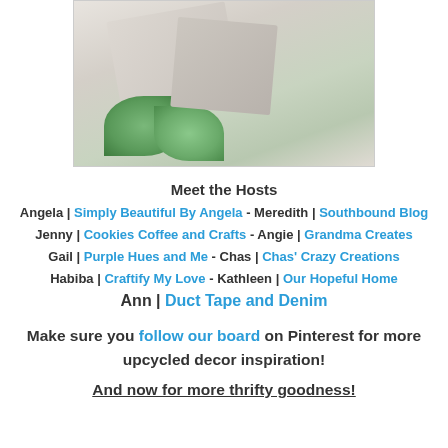[Figure (photo): A styled bedroom/living room scene with patterned pillows/cushions, white/grey bedding, and green monstera leaves, bordered with a light grey border.]
Meet the Hosts
Angela | Simply Beautiful By Angela - Meredith | Southbound Blog
Jenny | Cookies Coffee and Crafts - Angie | Grandma Creates
Gail | Purple Hues and Me  - Chas | Chas' Crazy Creations
Habiba | Craftify My Love  - Kathleen | Our Hopeful Home
Ann | Duct Tape and Denim
Make sure you follow our board on Pinterest for more upcycled decor inspiration!
And now for more thrifty goodness!